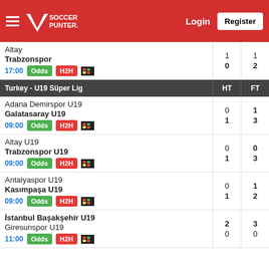SoccerPunter Login Register
Altay vs Trabzonspor 17:00 HT:1-0 FT:1-2
| Turkey - U19 Süper Lig | HT | FT |
| --- | --- | --- |
| Adana Demirspor U19 / Galatasaray U19 09:00 | 0/1 | 1/3 |
| Altay U19 / Trabzonspor U19 09:00 | 0/1 | 0/3 |
| Antalyaspor U19 / Kasımpaşa U19 09:00 | 0/1 | 1/2 |
| İstanbul Başakşehir U19 / Giresunspor U19 11:00 | 2/0 | 3/0 |